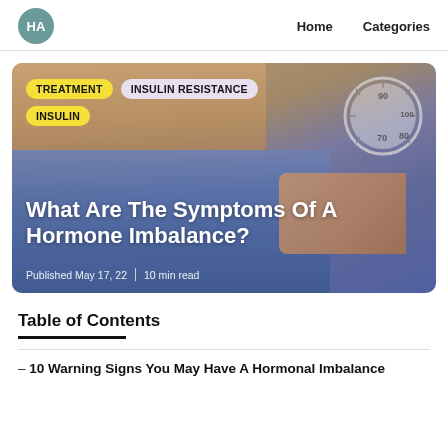HA   Home   Categories
[Figure (photo): Hero image card showing a person's midsection pulling on too-large jeans with a weighing scale in the background. Tags: TREATMENT, INSULIN RESISTANCE, INSULIN. Title overlay: What Are The Symptoms Of A Hormone Imbalance? Published May 17, 22 | 10 min read]
Table of Contents
– 10 Warning Signs You May Have A Hormonal Imbalance